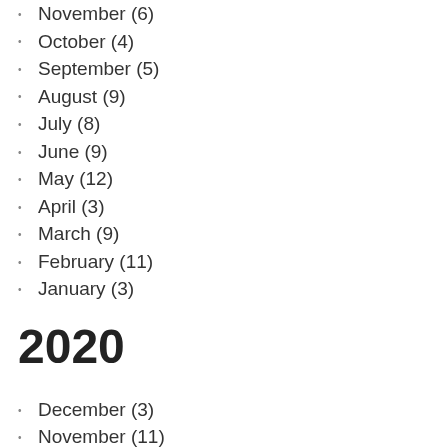November (6)
October (4)
September (5)
August (9)
July (8)
June (9)
May (12)
April (3)
March (9)
February (11)
January (3)
2020
December (3)
November (11)